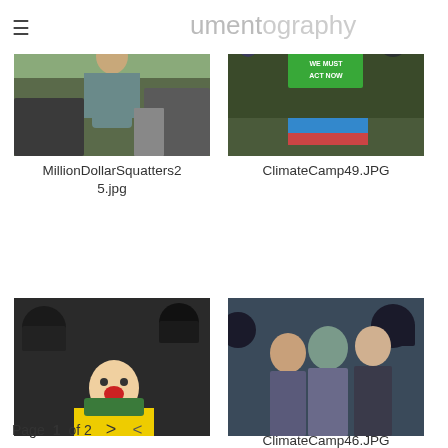umentography
[Figure (photo): Man standing in front of debris and scrap materials outdoors]
MillionDollarSquatters25.jpg
[Figure (photo): Crowd of protesters with signs reading WE MUST ACT NOW at a climate camp event]
ClimateCamp49.JPG
[Figure (photo): Protesters including person in clown makeup surrounded by riot police in helmets]
[Figure (photo): Group of people including protesters and riot police on a street]
ClimateCamp46.JPG
Page 1 of 2